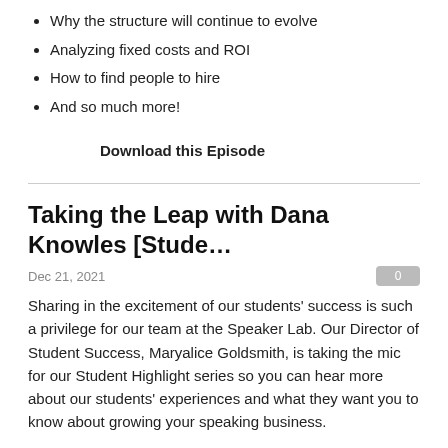Why the structure will continue to evolve
Analyzing fixed costs and ROI
How to find people to hire
And so much more!
Download this Episode
Taking the Leap with Dana Knowles [Stude…
Dec 21, 2021
Sharing in the excitement of our students' success is such a privilege for our team at the Speaker Lab. Our Director of Student Success, Maryalice Goldsmith, is taking the mic for our Student Highlight series so you can hear more about our students' experiences and what they want you to know about growing your speaking business.
Dana Knowles joined The Speaker Lab in April 2021. Her enthusiasm and motivation are unmatched, and she quickly engaged with our coaches and the Elite program. She's always loved speaking and realizing she might be able to get paid to speak was a game changer. Passionate about sharing her extraordinary story with audiences, Dana shares more about her product that